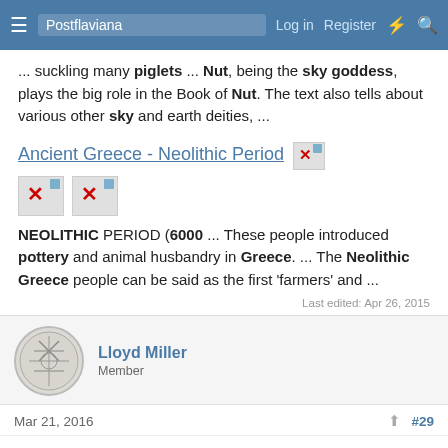Postflaviana — Log in  Register
... suckling many piglets ... Nut, being the sky goddess, plays the big role in the Book of Nut. The text also tells about various other sky and earth deities, ...
Ancient Greece - Neolithic Period
[Figure (other): Three broken image placeholders with red X icons]
NEOLITHIC PERIOD (6000 ... These people introduced pottery and animal husbandry in Greece. ... The Neolithic Greece people can be said as the first 'farmers' and ...
Last edited: Apr 26, 2015
Lloyd Miller
Member
Mar 21, 2016   #29
Come on guys! Never heard the sounds that occur during